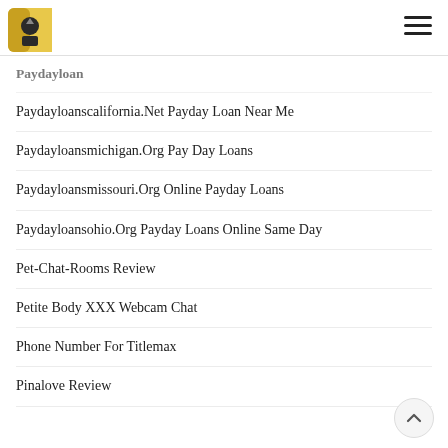Logo and navigation menu
Paydayloan
Paydayloanscalifornia.Net Payday Loan Near Me
Paydayloansmichigan.Org Pay Day Loans
Paydayloansmissouri.Org Online Payday Loans
Paydayloansohio.Org Payday Loans Online Same Day
Pet-Chat-Rooms Review
Petite Body XXX Webcam Chat
Phone Number For Titlemax
Pinalove Review